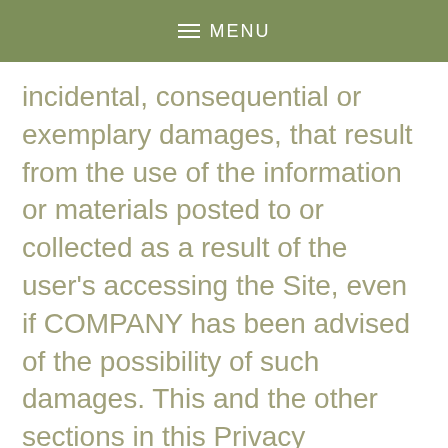MENU
incidental, consequential or exemplary damages, that result from the use of the information or materials posted to or collected as a result of the user’s accessing the Site, even if COMPANY has been advised of the possibility of such damages. This and the other sections in this Privacy Statement should be read in conjunction with and are subject to the Terms of Use